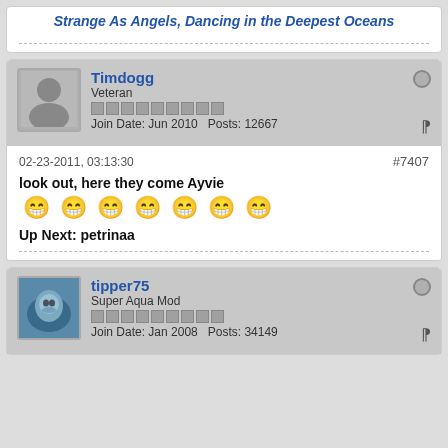Strange As Angels, Dancing in the Deepest Oceans
Timdogg
Veteran
Join Date: Jun 2010  Posts: 12667
02-23-2011, 03:13:30  #7407
look out, here they come Ayvie
[Figure (illustration): Seven smiley face emoji in a row]
Up Next: petrinaa
tipper75
Super Aqua Mod
Join Date: Jan 2008  Posts: 34149